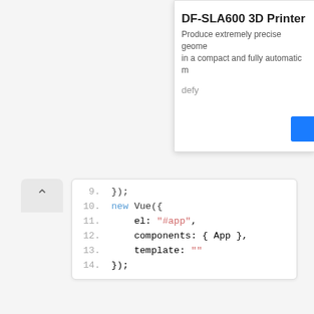[Figure (screenshot): Partial advertisement for DF-SLA600 3D Printer with text 'Produce extremely precise geome... in a compact and fully automatic m...' and a blue button, overlaid on top right of page]
[Figure (screenshot): Code editor screenshot showing Vue.js code lines 9-14 with new Vue({ el: '#app', components: { App }, template: '' });]
Be sure to
replace 'YOUR_GOOGLE_MAPS_API_KEY_GOES_HERE' with your actual Google API key. Also, specify the places library which will be required for using the autocomplete feature.